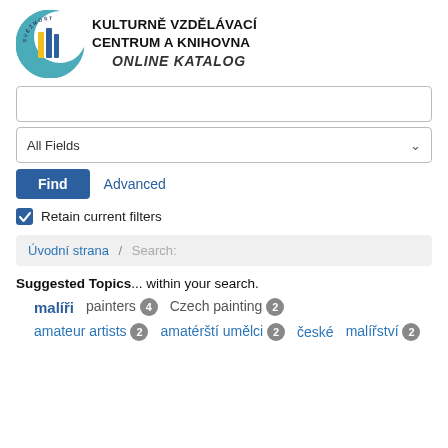[Figure (logo): Kulturně vzdělávací centrum a knihovna logo with crescent moon and book/bars icon]
KULTURNĚ VZDĚLÁVACÍ CENTRUM A KNIHOVNA
ONLINE KATALOG
All Fields (dropdown)
Find   Advanced
Retain current filters
Úvodní strana / Search:
Suggested Topics... within your search.
malíři   painters 4   Czech painting 2
amateur artists 2   amatérští umělci 2   české malířství 2